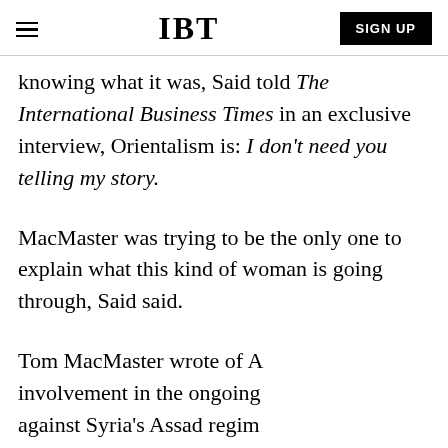IBT | SIGN UP
knowing what it was, Said told The International Business Times in an exclusive interview, Orientalism is: I don't need you telling my story.
MacMaster was trying to be the only one to explain what this kind of woman is going through, Said said.
Tom MacMaster wrote of A involvement in the ongoing against Syria's Assad regim Damascus-- all the way from his graduate school in Edinburgh, Scotland
[Figure (screenshot): IBT Top Articles popup overlay showing a thumbnail of a person with face paint and decorative spheres on a red background, with caption 'New SpiderGenus,Severa...' and a close button]